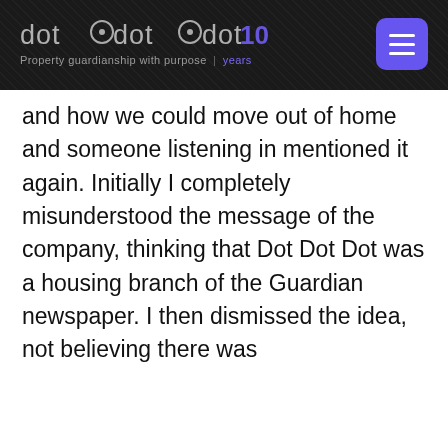dotdotdot 10 — Property guardianship with purpose | years
and how we could move out of home and someone listening in mentioned it again. Initially I completely misunderstood the message of the company, thinking that Dot Dot Dot was a housing branch of the Guardian newspaper. I then dismissed the idea, not believing there was
This website uses cookies to improve your experience
ACCEPT   REJECT   For more information on cookies click here: Read More